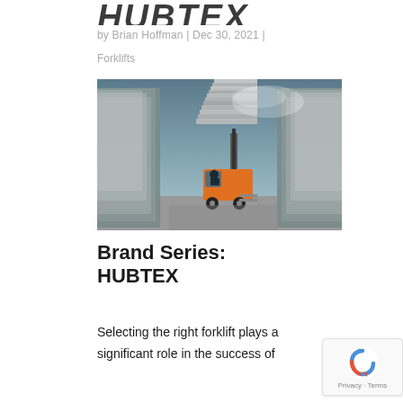HUBTEX
by Brian Hoffman | Dec 30, 2021 |
Forklifts
[Figure (photo): An orange HUBTEX forklift carrying a tall load of stacked flat materials in a narrow warehouse aisle, with motion blur on the surrounding shelves, shot against a dramatic sky.]
Brand Series: HUBTEX
Selecting the right forklift plays a significant role in the success of